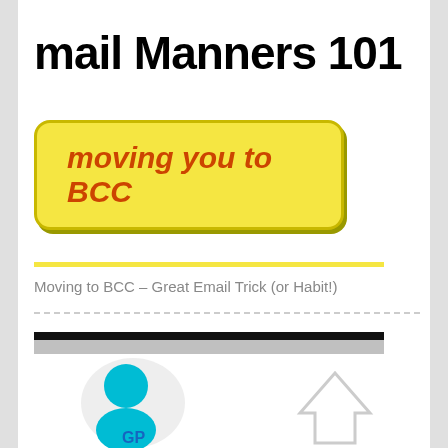mail Manners 101
[Figure (illustration): Yellow rounded rectangle button with orange italic bold text reading 'moving you to BCC']
[Figure (illustration): Yellow horizontal divider line]
Moving to BCC – Great Email Trick (or Habit!)
[Figure (illustration): Black and gray horizontal bars forming a header/scrollbar element]
[Figure (illustration): Partial person/avatar icon in cyan/blue at bottom left, and a partial upward-pointing arrow/house icon in gray at bottom right]